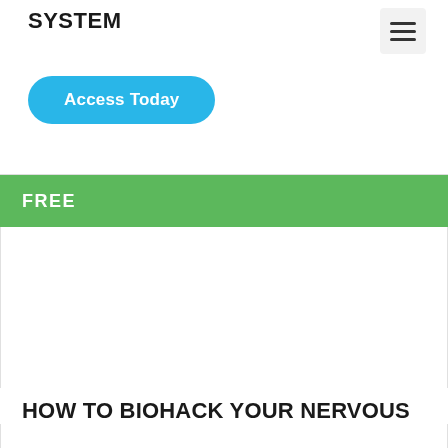SYSTEM
Access Today
FREE
HOW TO BIOHACK YOUR NERVOUS